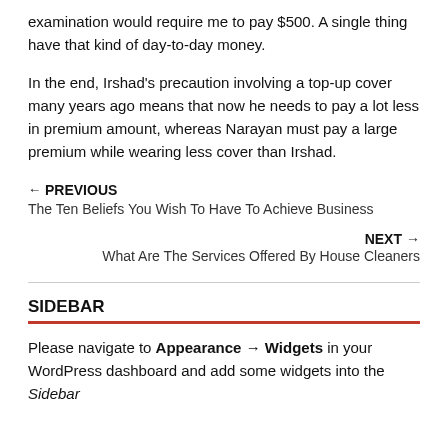examination would require me to pay $500. A single thing have that kind of day-to-day money.
In the end, Irshad's precaution involving a top-up cover many years ago means that now he needs to pay a lot less in premium amount, whereas Narayan must pay a large premium while wearing less cover than Irshad.
← PREVIOUS
The Ten Beliefs You Wish To Have To Achieve Business
NEXT →
What Are The Services Offered By House Cleaners
SIDEBAR
Please navigate to Appearance → Widgets in your WordPress dashboard and add some widgets into the Sidebar